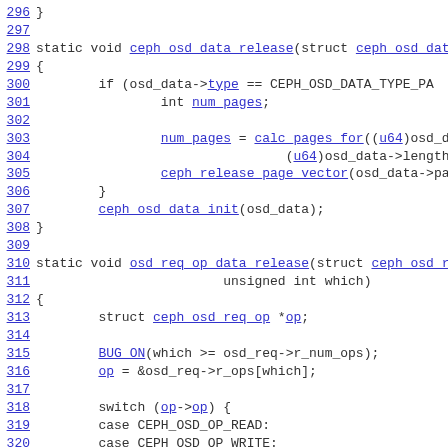296 }
297
298 static void ceph_osd_data_release(struct ceph_osd_data
299 {
300         if (osd_data->type == CEPH_OSD_DATA_TYPE_PA
301                 int num_pages;
302
303                 num_pages = calc_pages_for((u64)osd_data->a
304                                         (u64)osd_data->length);
305                 ceph_release_page_vector(osd_data->pages, n
306         }
307         ceph_osd_data_init(osd_data);
308 }
309
310 static void osd_req_op_data_release(struct ceph_osd_rec
311                         unsigned int which)
312 {
313         struct ceph_osd_req_op *op;
314
315         BUG_ON(which >= osd_req->r_num_ops);
316         op = &osd_req->r_ops[which];
317
318         switch (op->op) {
319         case CEPH_OSD_OP_READ:
320         case CEPH_OSD_OP_WRITE: